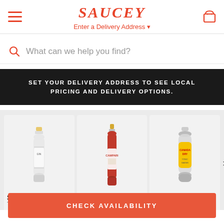SAUCEY — Enter a Delivery Address
What can we help you find?
SET YOUR DELIVERY ADDRESS TO SEE LOCAL PRICING AND DELIVERY OPTIONS.
[Figure (screenshot): Product card: St. George Gin bottle]
[Figure (screenshot): Product card: Campari Bitters bottle]
[Figure (screenshot): Product card: Canada Dry Tonic Water bottle]
CHECK AVAILABILITY